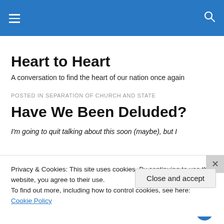Heart to Heart [navigation header with hamburger menu and search icon]
Heart to Heart
A conversation to find the heart of our nation once again
POSTED IN SEPARATION OF CHURCH AND STATE
Have We Been Deluded?
I'm going to quit talking about this soon (maybe), but I
Privacy & Cookies: This site uses cookies. By continuing to use this website, you agree to their use.
To find out more, including how to control cookies, see here: Cookie Policy
Close and accept
Post on the go.